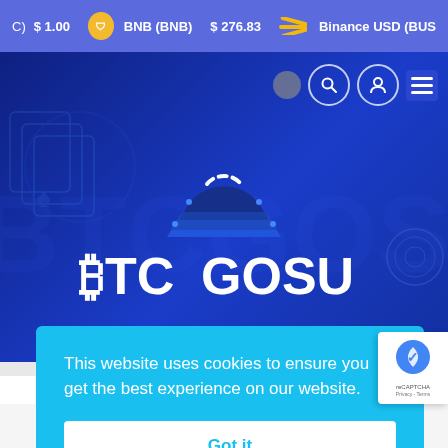(C) $1.00  BNB (BNB) $276.83  Binance USD (BUS
[Figure (screenshot): BTCGosu website hero banner with casino chip logo and BTCGOSU text on dark blue background, with playing card illustrations and navigation icons]
This website uses cookies to ensure you get the best experience on our website.
Got it